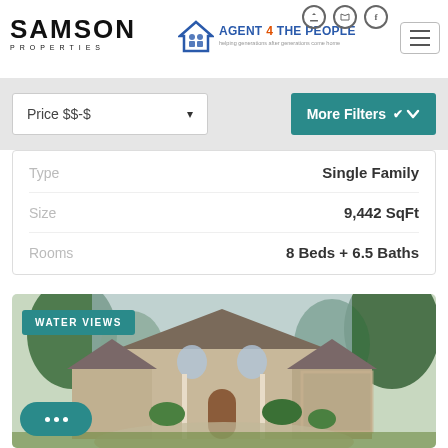[Figure (logo): Samson Properties logo with bold SAMSON text and PROPERTIES in spaced letters below]
[Figure (logo): Agent 4 The People logo with house/people icon and text AGENT 4 THE PEOPLE]
Price $$-$
More Filters
|  |  |
| --- | --- |
| Type | Single Family |
| Size | 9,442 SqFt |
| Rooms | 8 Beds + 6.5 Baths |
[Figure (photo): Large luxury single-family home with stone facade, arched windows, and lush trees. WATER VIEWS badge overlaid in teal.]